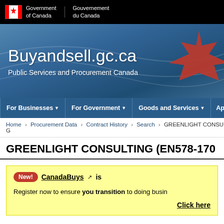Government of Canada / Gouvernement du Canada
[Figure (screenshot): Buyandsell.gc.ca website header banner with site title and maple leaf logo]
For Businesses | For Government | Goods and Services | Applic...
Home > Procurement Data > Contract History > Search > GREENLIGHT CONSULTING
GREENLIGHT CONSULTING (EN578-170...
New! CanadaBuys is... Register now to ensure you transition to doing busin... Click here
Contract History